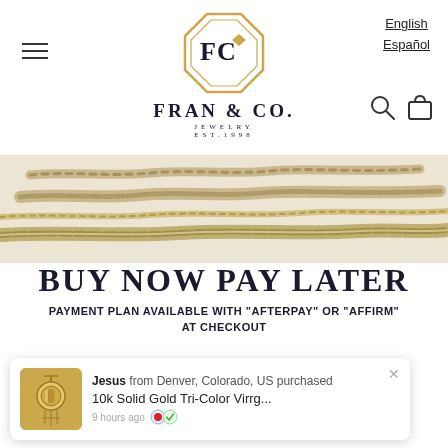Fran & Co. Jewelry Est.1998 — English / Español
[Figure (logo): Fran & Co. Jewelry logo with FC monogram inside a golden octagon gem shape, with text FRAN & CO. JEWELRY EST.1998]
[Figure (photo): Close-up photo of multiple gold chain necklaces laid side by side on a white background]
BUY NOW PAY LATER
PAYMENT PLAN AVAILABLE WITH "AFTERPAY" OR "AFFIRM" AT CHECKOUT
[Figure (screenshot): Purchase notification popup: Jesus from Denver, Colorado, US purchased 10k Solid Gold Tri-Color Virrg... 9 hours ago with a checkmark badge icon]